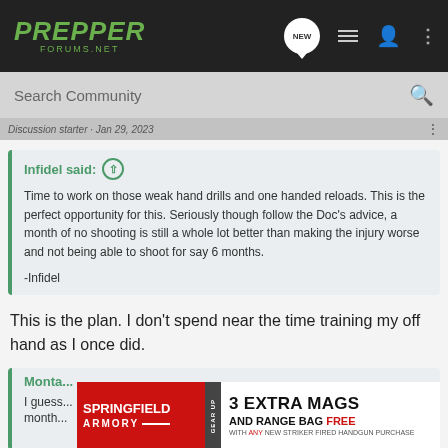PREPPER FORUMS.NET
Search Community
Discussion starter · Jan 29, 2023
Infidel said: ↑

Time to work on those weak hand drills and one handed reloads. This is the perfect opportunity for this. Seriously though follow the Doc's advice, a month of no shooting is still a whole lot better than making the injury worse and not being able to shoot for say 6 months.

-Infidel
This is the plan. I don't spend near the time training my off hand as I once did.
Monta...

I guess... month...
[Figure (advertisement): Springfield Armory advertisement: 3 Extra Mags and Range Bag Free with any new striker fired handgun purchase]